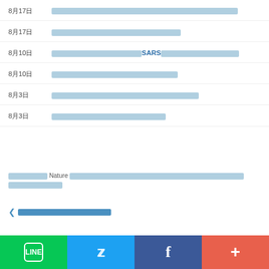8月17日 [link text redacted/CJK]
8月17日 [link text redacted/CJK]
8月10日 [link text with SARS redacted/CJK]
8月10日 [link text redacted/CJK]
8月3日 [link text redacted/CJK]
8月3日 [link text redacted/CJK]
[CJK text] Nature [CJK text continued]
< [CJK back link text]